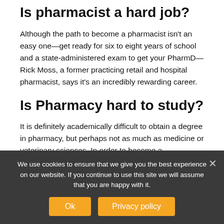Is pharmacist a hard job?
Although the path to become a pharmacist isn't an easy one—get ready for six to eight years of school and a state-administered exam to get your PharmD—Rick Moss, a former practicing retail and hospital pharmacist, says it's an incredibly rewarding career.
Is Pharmacy hard to study?
It is definitely academically difficult to obtain a degree in pharmacy, but perhaps not as much as medicine or veterinary sciences. In order to become a pharmacist, candidates need to make a full commitment to their studies. A pharmacist's job is hard and stressful
We use cookies to ensure that we give you the best experience on our website. If you continue to use this site we will assume that you are happy with it.